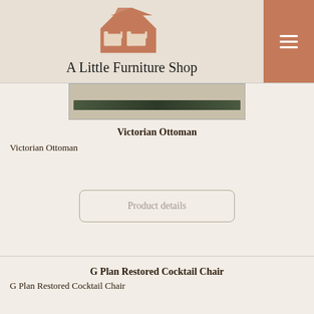[Figure (logo): A Little Furniture Shop logo with house and furniture silhouette icon in terracotta/brown color]
A Little Furniture Shop
[Figure (photo): Photo of a Victorian Ottoman - appears to be a dark rod or rail piece on a light background]
Victorian Ottoman
Victorian Ottoman
Product details
G Plan Restored Cocktail Chair
G Plan Restored Cocktail Chair